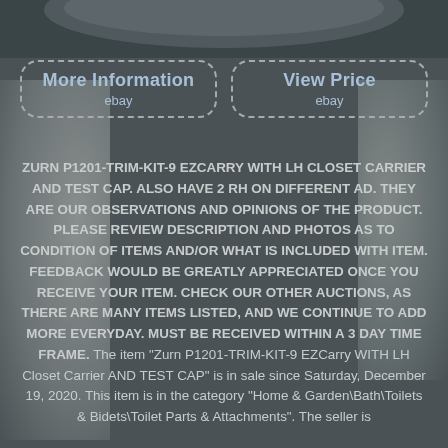[Figure (photo): Partial top view of a toilet/plumbing product on a dark grey background]
More Information ebay
View Price ebay
Zurn P1201-TRIM-KIT-9 EZCarry WITH LH Closet Carrier AND TEST CAP. ALSO HAVE 2 RH ON DIFFERENT AD. THEY ARE OUR OBSERVATIONS AND OPINIONS OF THE PRODUCT. PLEASE REVIEW DESCRIPTION AND PHOTOS AS TO CONDITION OF ITEMS AND/OR WHAT IS INCLUDED WITH ITEM. FEEDBACK WOULD BE GREATLY APPRECIATED ONCE YOU RECEIVE YOUR ITEM. CHECK OUR OTHER AUCTIONS, AS THERE ARE MANY ITEMS LISTED, AND WE CONTINUE TO ADD MORE EVERYDAY. MUST BE RECEIVED WITHIN A 3 DAY TIME FRAME. The item "Zurn P1201-TRIM-KIT-9 EZCarry WITH LH Closet Carrier AND TEST CAP" is in sale since Saturday, December 19, 2020. This item is in the category "Home & Garden\Bath\Toilets & Bidets\Toilet Parts & Attachments". The seller is